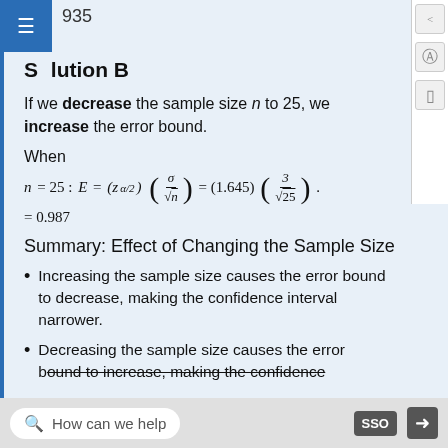935
Solution B
If we decrease the sample size n to 25, we increase the error bound.
When
Summary: Effect of Changing the Sample Size
Increasing the sample size causes the error bound to decrease, making the confidence interval narrower.
Decreasing the sample size causes the error bound to increase, making the confidence
How can we help